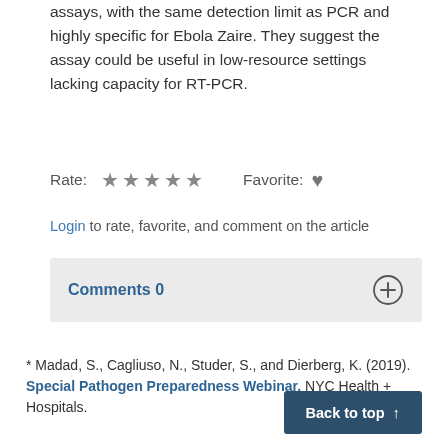assays, with the same detection limit as PCR and highly specific for Ebola Zaire. They suggest the assay could be useful in low-resource settings lacking capacity for RT-PCR.
Rate: ★★★★★  Favorite: ♥
Login to rate, favorite, and comment on the article
Comments 0
* Madad, S., Cagliuso, N., Studer, S., and Dierberg, K. (2019). Special Pathogen Preparedness Webinar. NYC Health + Hospitals.